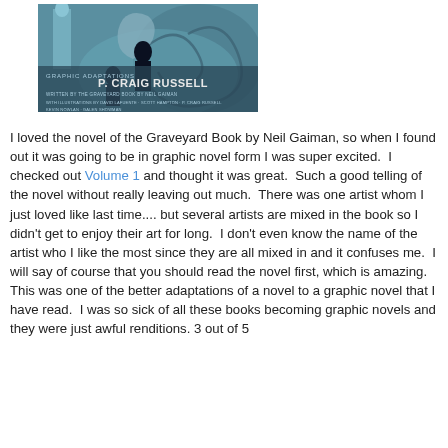[Figure (illustration): Book cover of The Graveyard Book graphic novel adaptation by P. Craig Russell. Teal/blue toned illustration with figures, text reads 'GRAPHIC ADAPTATION P. CRAIG RUSSELL' and smaller credits below.]
I loved the novel of the Graveyard Book by Neil Gaiman, so when I found out it was going to be in graphic novel form I was super excited.  I checked out Volume 1 and thought it was great.  Such a good telling of the novel without really leaving out much.  There was one artist whom I just loved like last time.... but several artists are mixed in the book so I didn't get to enjoy their art for long.  I don't even know the name of the artist who I like the most since they are all mixed in and it confuses me.  I will say of course that you should read the novel first, which is amazing.  This was one of the better adaptations of a novel to a graphic novel that I have read.  I was so sick of all these books becoming graphic novels and they were just awful renditions. 3 out of 5